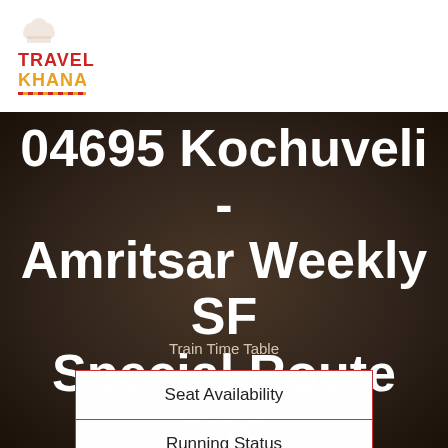[Figure (logo): TravelKhana logo with chef hat icon, 'TRAVEL' in red and 'KHANA' in orange/gold, with decorative underline]
04695 Kochuveli - Amritsar Weekly SF Special Route and Schedule
Train Time Table
| Seat Availability |
| Running Status |